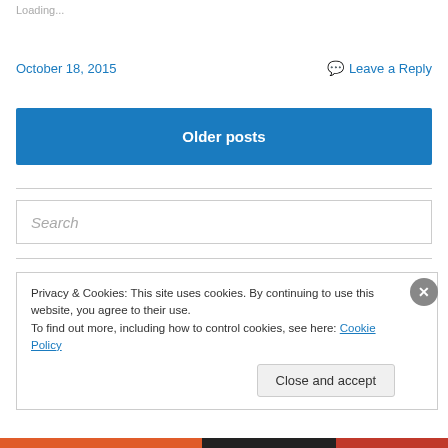Loading...
October 18, 2015
Leave a Reply
Older posts
Search
Privacy & Cookies: This site uses cookies. By continuing to use this website, you agree to their use.
To find out more, including how to control cookies, see here: Cookie Policy
Close and accept